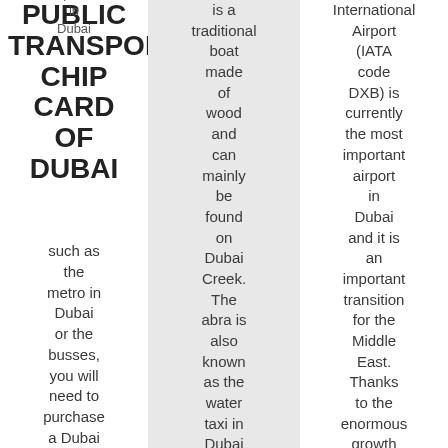PUBLIC TRANSPORT CHIP CARD OF DUBAI
transportation in Dubai such as the metro in Dubai or the busses, you will need to purchase a Dubai NOL card. This is an electronic card that is used to access and
is a traditional boat made of wood and can mainly be found on Dubai Creek. The abra is also known as the water taxi in Dubai and is the oldest method
International Airport (IATA code DXB) is currently the most important airport in Dubai and it is an important transition for the Middle East. Thanks to the enormous growth of tourism in the regi